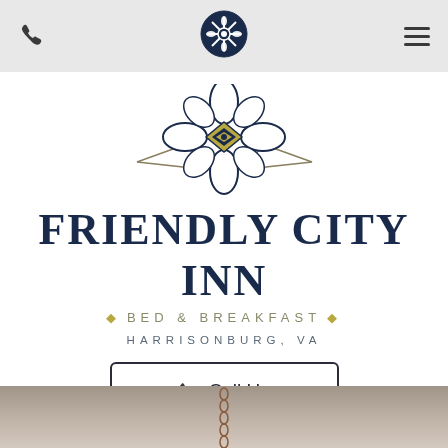Navigation bar with phone icon, logo icon, and menu icon
[Figure (logo): Decorative floral/snowflake logo mark with geometric diamond center and petal shapes in dark navy and olive/gold color scheme]
FRIENDLY CITY INN
· BED & BREAKFAST ·
HARRISONBURG, VA
Call Us
Book Your Stay
[Figure (photo): Bottom portion of a room interior showing a ceiling with a hanging chandelier chain, muted beige/taupe tones]